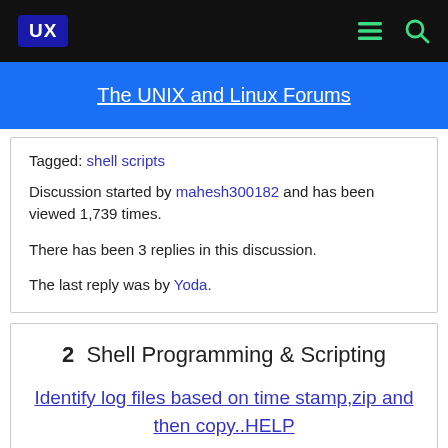UX  [menu icon] [search icon]
The UNIX and Linux Forums
Tagged: shell scripts
Discussion started by mahesh300182 and has been viewed 1,739 times.
There has been 3 replies in this discussion.
The last reply was by Yoda.
2  Shell Programming & Scripting
Identify log files based on time stamp,zip and then copy..HELP